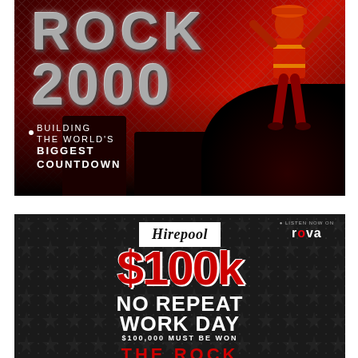[Figure (illustration): Rock 2000 promotional banner. Dark red/crimson background with diamond plate texture overlay. Large metallic text reading ROCK and 2000. Silhouette of a construction worker in hi-vis vest on the right. Speaker/equipment silhouettes in the background. Text reads: BUILDING THE WORLD'S BIGGEST COUNTDOWN]
[Figure (illustration): Hirepool $100k No Repeat Work Day promotional advertisement on dark background with dot pattern. Hirepool logo in white box at top center. Rova logo top right. Large red and white $100k text. White bold text: NO REPEAT WORK DAY. Subtext: $100,000 MUST BE WON. Partial THE ROCK text at bottom in red.]